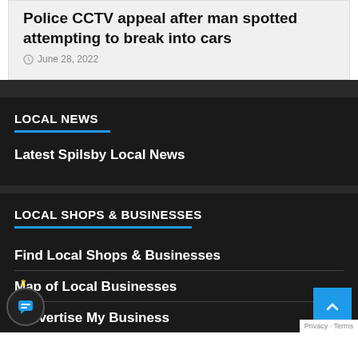Police CCTV appeal after man spotted attempting to break into cars
June 28, 2022
LOCAL NEWS
Latest Spilsby Local News
LOCAL SHOPS & BUSINESSES
Find Local Shops & Businesses
Map of Local Businesses
Advertise My Business